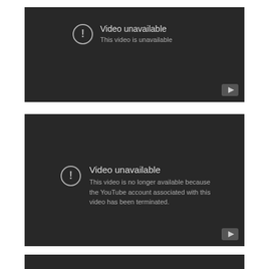[Figure (screenshot): YouTube embedded video player showing 'Video unavailable' error with exclamation icon and message 'This video is unavailable' on dark background]
[Figure (screenshot): YouTube embedded video player showing 'Video unavailable' error with exclamation icon and message 'This video is no longer available because the YouTube account associated with this video has been terminated.' on dark background]
[Figure (screenshot): Partial YouTube embedded video player on dark background, content cropped]